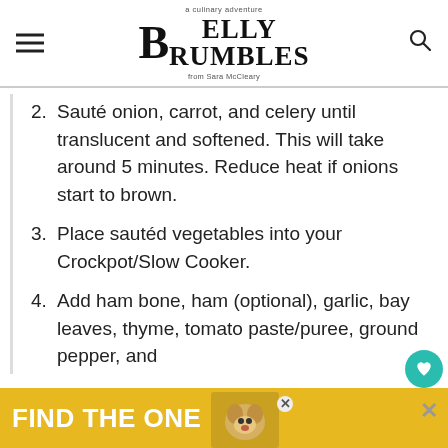Belly Rumbles — a culinary adventure from Sara McCleary
2. Sauté onion, carrot, and celery until translucent and softened. This will take around 5 minutes. Reduce heat if onions start to brown.
3. Place sautéd vegetables into your Crockpot/Slow Cooker.
4. Add ham bone, ham (optional), garlic, bay leaves, thyme, tomato paste/puree, ground pepper, and
[Figure (screenshot): Advertisement banner: yellow/gold background with bold white text 'FIND THE ONE' and a dog photo, with close buttons]